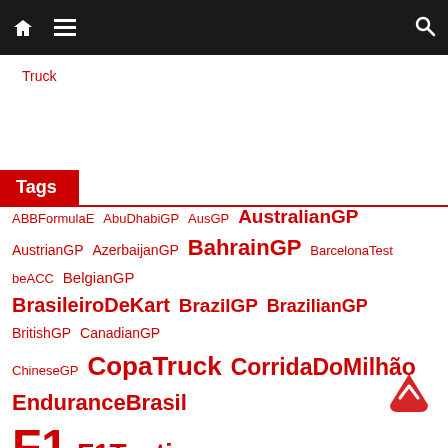Navigation bar with home, menu, and search icons
Truck
Tags
ABBFormulaE AbuDhabiGP AusGP AustralianGP AustrianGP AzerbaijanGP BahrainGP BarcelonaTest beACC BelgianGP BrasileiroDeKart BrazilGP BrazilianGP BritishGP CanadianGP ChineseGP CopaTruck CorridaDoMilhão EnduranceBrasil F1 F1Testing F2 Ferrari FormulaE FrenchGP GermanGP HungaryGP Indy500 Indycar ItalianGP JapaneseGP LoucosPorAdrenalina MBChallenge MexicoGP MonacoGP MotoGP Nascar RussianGP SpanishGP Stock